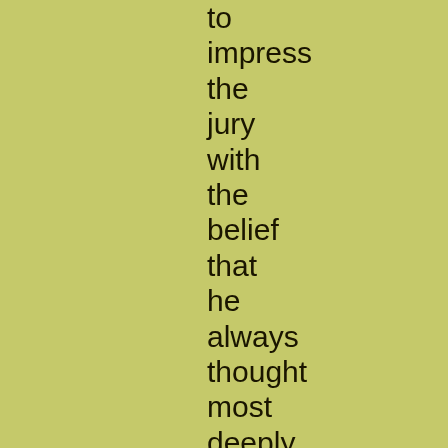to impress the jury with the belief that he always thought most deeply with his eyes shut. Serjeant Buzfuz